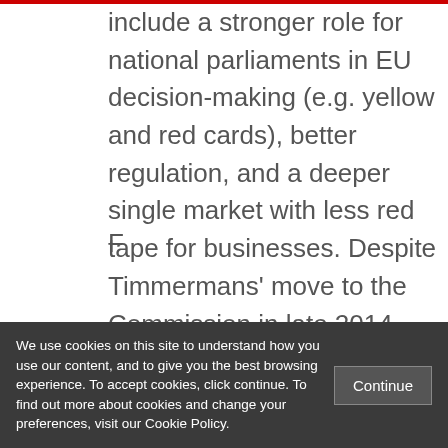include a stronger role for national parliaments in EU decision-making (e.g. yellow and red cards), better regulation, and a deeper single market with less red tape for businesses. Despite Timmermans' move to the Commission in late 2014, the Dutch position has remained the same, and David Cameron will continue to find The Hague by his side on these issues.
We use cookies on this site to understand how you use our content, and to give you the best browsing experience. To accept cookies, click continue. To find out more about cookies and change your preferences, visit our Cookie Policy.